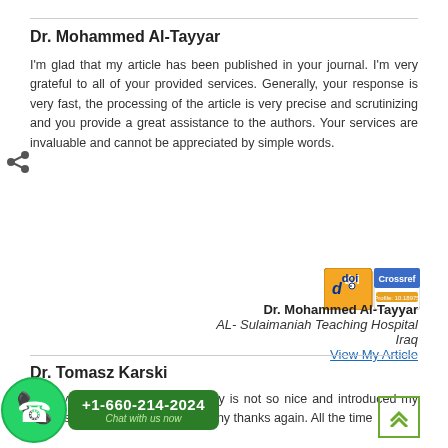Dr. Mohammed Al-Tayyar
I'm glad that my article has been published in your journal. I'm very grateful to all of your provided services. Generally, your response is very fast, the processing of the article is very precise and scrutinizing and you provide a great assistance to the authors. Your services are invaluable and cannot be appreciated by simple words.
Dr. Mohammed Al-Tayyar
AL- Sulaimaniah Teaching Hospital
Iraq
View My Article
Dr. Tomasz Karski
quickly to my Emails. Many, many is not so nice and introduced my suggestions rapidly / at once - many thanks again. All the time